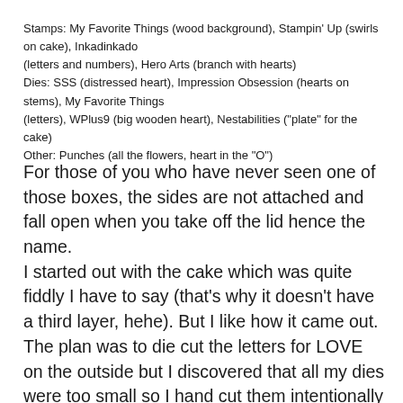Stamps: My Favorite Things (wood background), Stampin' Up (swirls on cake), Inkadinkado (letters and numbers), Hero Arts (branch with hearts)
Dies: SSS (distressed heart), Impression Obsession (hearts on stems), My Favorite Things (letters), WPlus9 (big wooden heart), Nestabilities ("plate" for the cake)
Other: Punches (all the flowers, heart in the "O")
For those of you who have never seen one of those boxes, the sides are not attached and fall open when you take off the lid hence the name.
I started out with the cake which was quite fiddly I have to say (that's why it doesn't have a third layer, hehe). But I like how it came out.
The plan was to die cut the letters for LOVE on the outside but I discovered that all my dies were too small so I hand cut them intentionally in a loose, sort of organic way to add to the rustic feeling of the card. The top part is where we put the monetary gift and the lower part is where we wrote our wishes for the couple.